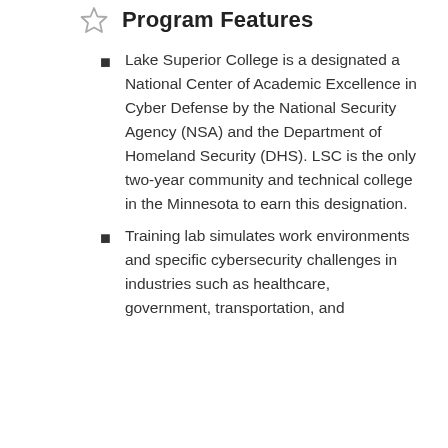Program Features
Lake Superior College is a designated a National Center of Academic Excellence in Cyber Defense by the National Security Agency (NSA) and the Department of Homeland Security (DHS). LSC is the only two-year community and technical college in the Minnesota to earn this designation.
Training lab simulates work environments and specific cybersecurity challenges in industries such as healthcare, government, transportation, and